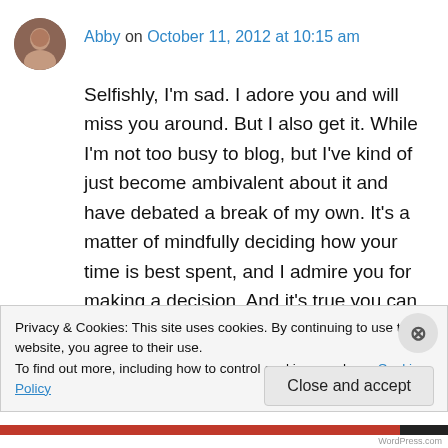Abby on October 11, 2012 at 10:15 am
Selfishly, I'm sad. I adore you and will miss you around. But I also get it. While I'm not too busy to blog, but I've kind of just become ambivalent about it and have debated a break of my own. It's a matter of mindfully deciding how your time is best spent, and I admire you for making a decision. And it's true you can take a break without stopping. There are no concretes with these things 😘
Privacy & Cookies: This site uses cookies. By continuing to use this website, you agree to their use.
To find out more, including how to control cookies, see here: Cookie Policy